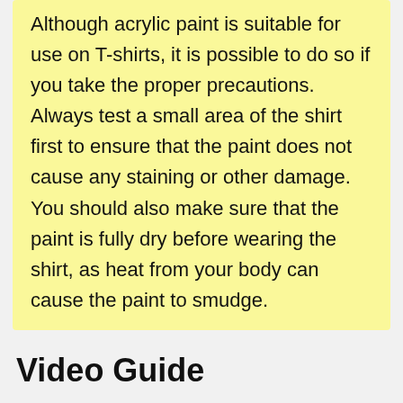Although acrylic paint is suitable for use on T-shirts, it is possible to do so if you take the proper precautions. Always test a small area of the shirt first to ensure that the paint does not cause any staining or other damage. You should also make sure that the paint is fully dry before wearing the shirt, as heat from your body can cause the paint to smudge.
Video Guide
[Figure (screenshot): YouTube video thumbnail showing a woman with curly hair and the title 'Painting on Clothing with ACRYLIC ...' with a three-dot menu icon, on a dark background.]